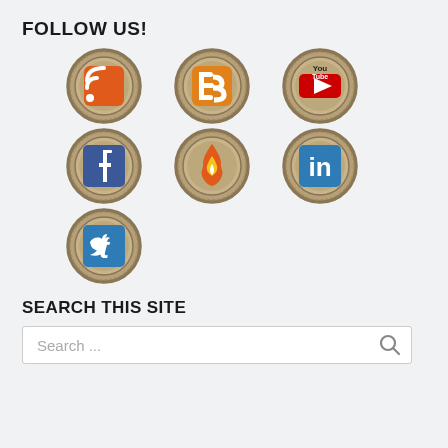FOLLOW US!
[Figure (illustration): Seven social media badge icons in scout-patch style arranged in a 3-3-1 grid: RSS, Blogger, YouTube (row 1); Facebook, Feedburner/fire, LinkedIn (row 2); Twitter (row 3)]
SEARCH THIS SITE
Search ...